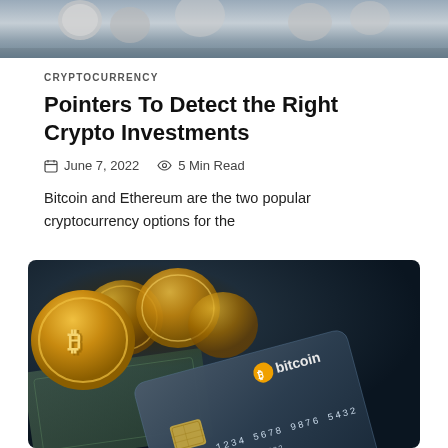[Figure (photo): Top portion of a cryptocurrency/money themed photo, showing coins and financial elements in dark tones]
CRYPTOCURRENCY
Pointers To Detect the Right Crypto Investments
June 7, 2022   5 Min Read
Bitcoin and Ethereum are the two popular cryptocurrency options for the
[Figure (photo): Photo of golden Bitcoin coins piled up next to a dark blue credit card styled bitcoin card showing card number 1234 5678 9876 5432 expiry 12/22 and cardholder text, with US dollar bills in background]